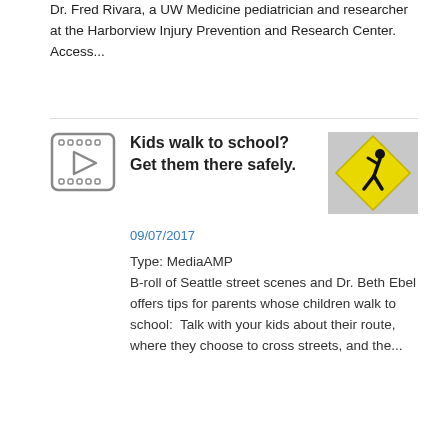Dr. Fred Rivara, a UW Medicine pediatrician and researcher at the Harborview Injury Prevention and Research Center. Access...
Kids walk to school? Get them there safely.
09/07/2017
Type: MediaAMP
B-roll of Seattle street scenes and Dr. Beth Ebel offers tips for parents whose children walk to school:  Talk with your kids about their route, where they choose to cross streets, and the...